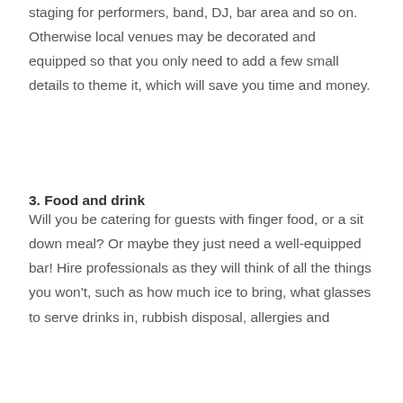staging for performers, band, DJ, bar area and so on. Otherwise local venues may be decorated and equipped so that you only need to add a few small details to theme it, which will save you time and money.
3. Food and drink
Will you be catering for guests with finger food, or a sit down meal? Or maybe they just need a well-equipped bar! Hire professionals as they will think of all the things you won't, such as how much ice to bring, what glasses to serve drinks in, rubbish disposal, allergies and